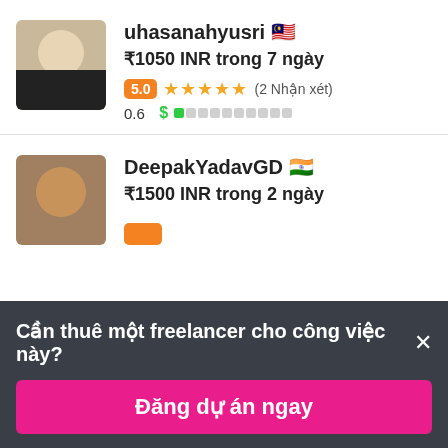[Figure (photo): Profile photo of uhasanahyusri, a person wearing dark clothing with hijab]
uhasanahyusri 🇲🇾
₹1050 INR trong 7 ngày
5.0 ★★★★★ (2 Nhận xét)
0.6 $ ▓░░░░░░░░░
[Figure (photo): Profile photo of DeepakYadavGD, a person wearing glasses]
DeepakYadavGD 🇮🇳
₹1500 INR trong 2 ngày
Cần thuê một freelancer cho công việc này? ×
Đăng dự án ngay